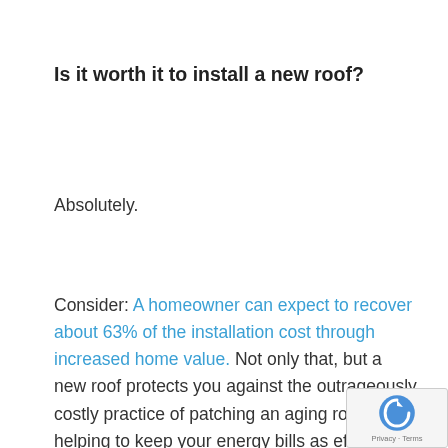Is it worth it to install a new roof?
Absolutely.
Consider: A homeowner can expect to recover about 63% of the installation cost through increased home value. Not only that, but a new roof protects you against the outrageously costly practice of patching an aging roof, while helping to keep your energy bills as efficient as